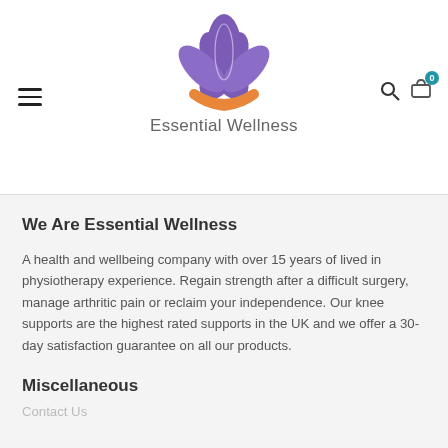[Figure (logo): Essential Wellness logo: purple lotus flower with orange hands beneath it, text 'Essential Wellness' below]
We Are Essential Wellness
A health and wellbeing company with over 15 years of lived in physiotherapy experience. Regain strength after a difficult surgery, manage arthritic pain or reclaim your independence. Our knee supports are the highest rated supports in the UK and we offer a 30-day satisfaction guarantee on all our products.
Miscellaneous
Contact Us